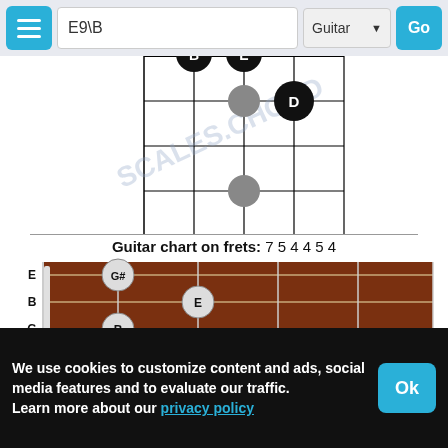E9\B | Guitar | Go
[Figure (other): Partial guitar chord fingering grid showing dots for E9/B chord at top of page]
Guitar chart on frets: 7 5 4 4 5 4
[Figure (other): Fretboard diagram showing E9/B chord. String labels E B G D A E on left. Fret numbers 4 5 6 7 8 on bottom. Note markers: G# on E string fret 4, B on G string fret 4, F# on D string fret 4, E on B string fret 5, D on A string fret 5, B on low E string fret 7.]
E9/B chord
E9/B guitar
We use cookies to customize content and ads, social media features and to evaluate our traffic.
Learn more about our privacy policy